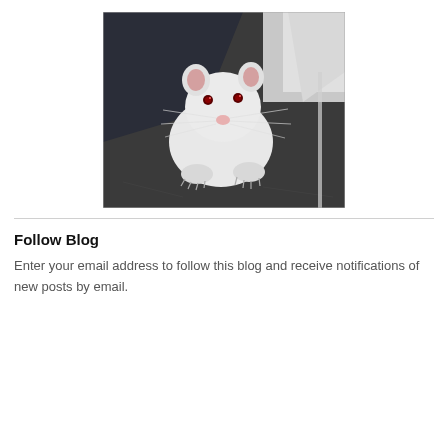[Figure (photo): A white albino rat with red eyes standing on a dark metallic surface, looking towards the camera. Dark fabric/clothing visible in the background upper left. The rat has white fur, pink nose, and prominent whiskers.]
Follow Blog
Enter your email address to follow this blog and receive notifications of new posts by email.